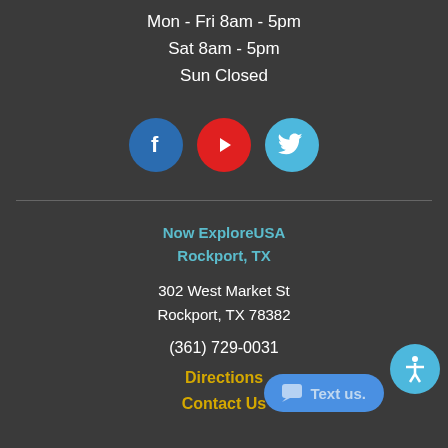Mon - Fri 8am - 5pm
Sat 8am - 5pm
Sun Closed
[Figure (illustration): Three social media icon circles: Facebook (blue), YouTube (red), Twitter (light blue)]
Now ExploreUSA Rockport, TX
302 West Market St
Rockport, TX 78382
(361) 729-0031
Directions
Contact Us